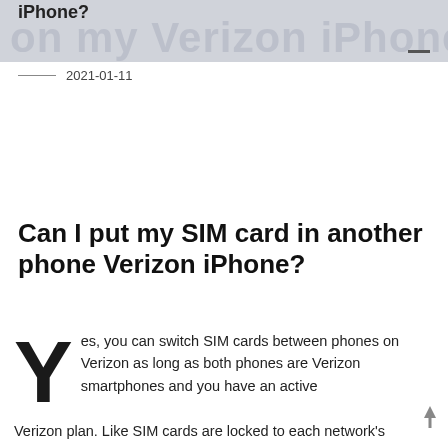iPhone?
2021-01-11
Can I put my SIM card in another phone Verizon iPhone?
Yes, you can switch SIM cards between phones on Verizon as long as both phones are Verizon smartphones and you have an active Verizon plan. Like SIM cards are locked to each network's